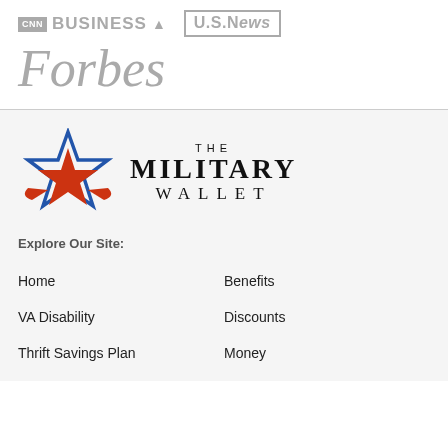[Figure (logo): CNN Business logo in gray]
[Figure (logo): U.S. News logo in gray]
[Figure (logo): Forbes logo in gray italic serif]
[Figure (logo): The Military Wallet logo with star graphic in blue and red, and serif text]
Explore Our Site:
Home
Benefits
VA Disability
Discounts
Thrift Savings Plan
Money